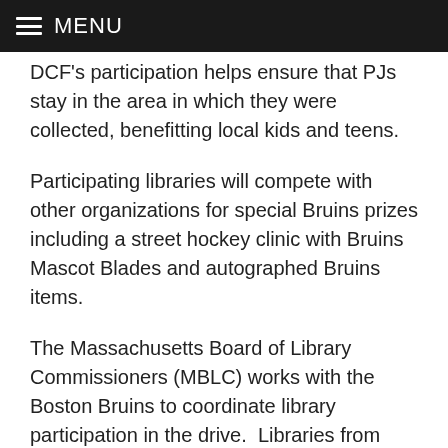MENU
DCF's participation helps ensure that PJs stay in the area in which they were collected, benefitting local kids and teens.
Participating libraries will compete with other organizations for special Bruins prizes including a street hockey clinic with Bruins Mascot Blades and autographed Bruins items.
The Massachusetts Board of Library Commissioners (MBLC) works with the Boston Bruins to coordinate library participation in the drive.  Libraries from around the state use the Massachusetts Library System's delivery service typically used to send books and other library materials, to send their PJs to area collection